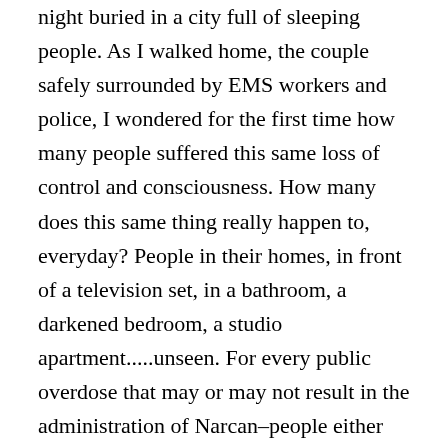night buried in a city full of sleeping people. As I walked home, the couple safely surrounded by EMS workers and police, I wondered for the first time how many people suffered this same loss of control and consciousness. How many does this same thing really happen to, everyday? People in their homes, in front of a television set, in a bathroom, a darkened bedroom, a studio apartment.....unseen. For every public overdose that may or may not result in the administration of Narcan–people either eventually getting up and making their way back to their lives after a near overdose– there are hundreds of people who are struggling to keep this disease a secret.
This picture is a secret revealing a secret. I'm not sure about this picture because of the nature of the personal tragedy of the situation. I felt compelled to